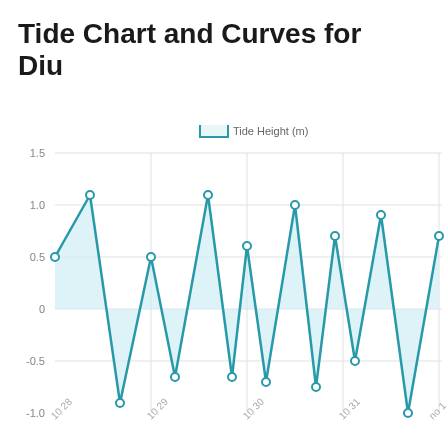Tide Chart and Curves for Diu
[Figure (continuous-plot): Area line chart showing tidal oscillations for Diu over approximately 4-5 days (Oct 28 to Nov 1). The y-axis ranges from about -1.0 to 1.5 m. The chart shows repeated wave peaks and troughs: starting around 0.5, rising to ~1.1, dropping to ~-0.9, rising to ~0.5, dropping to ~-0.65, rising to ~1.1, dropping to ~-0.65, rising to ~0.6, dropping to ~-0.7, rising to ~1.0, dropping to ~-0.75, rising to ~0.7, dropping to ~-0.5, rising to ~0.9, dropping to ~-1.0, rising to ~0.7. The area under the curve is filled with light blue.]